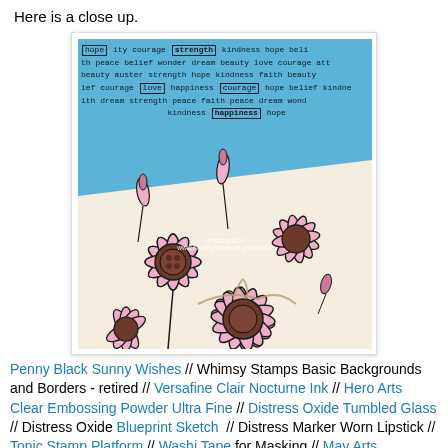Here is a close up.
[Figure (photo): Close-up photo of a handmade card featuring pink daisy/coneflower stamped images on a blue background with inspirational words (hope, strength, courage, love, happiness, kindness, etc.) stamped in the background. The flowers are colored pink with dark outlines, a brown button embellishment, and twine. The card sits on a cream/white background. Watermark reads: ©jhstamp2019 www.inkslingstamp.blogspot.com]
Penny Black Sunny Wishes // Whimsy Stamps Basic Backgrounds and Borders - retired // Versafine Clair Nocturne Ink // Hero Arts Clear Embossing Powder Ultra Fine // Distress Oxide Tumbled Glass // Distress Oxide Blueprint Sketch  // Distress Marker Worn Lipstick // Tonic Stamp Platform // Washi Tape for Masking // May Arts